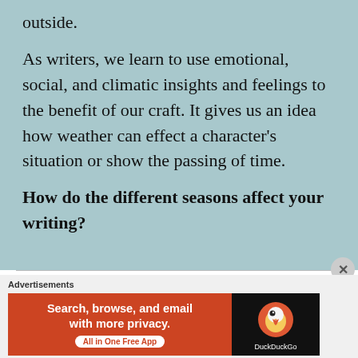outside.
As writers, we learn to use emotional, social, and climatic insights and feelings to the benefit of our craft. It gives us an idea how weather can effect a character's situation or show the passing of time.
How do the different seasons affect your writing?
Advertisements
[Figure (other): DuckDuckGo advertisement banner: orange left panel reading 'Search, browse, and email with more privacy. All in One Free App', black right panel with DuckDuckGo duck logo and text 'DuckDuckGo']